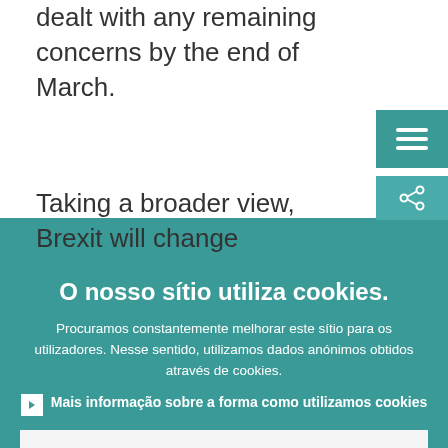dealt with any remaining concerns by the end of March.
Taking a broader view, Brexit will change
O nosso sítio utiliza cookies.
Procuramos constantemente melhorar este sítio para os utilizadores. Nesse sentido, utilizamos dados anónimos obtidos através de cookies.
Mais informação sobre a forma como utilizamos cookies
Compreendo e aceito a utilização de cookies
Não aceito a utilização de cookies